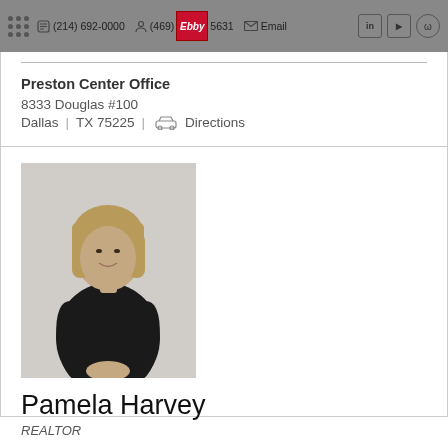(214) 692-0000  (469) [logo] 5631  Email  in  YouTube
Preston Center Office
8333 Douglas #100
Dallas | TX 75225 | Directions
[Figure (photo): Professional headshot of Pamela Harvey, a woman with a short blonde bob haircut wearing a black long-sleeve top, smiling, against a light background.]
Pamela Harvey
REALTOR